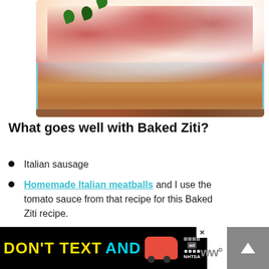[Figure (photo): Close-up photo of baked ziti in a glass baking dish, topped with melted mozzarella cheese, tomato sauce, and garnished with fresh parsley, sitting on a wooden surface.]
What goes well with Baked Ziti?
Italian sausage
Homemade Italian meatballs and I use the tomato sauce from that recipe for this Baked Ziti recipe.
[Figure (other): DON'T TEXT AND [image of red car] ad logo with NHTSA branding. Public service advertisement banner.]